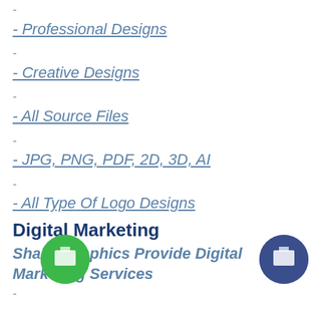-
- Professional Designs
-
- Creative Designs
-
- All Source Files
-
- JPG, PNG, PDF, 2D, 3D, AI
-
- All Type Of Logo Designs
Digital Marketing
Shakti Graphics Provide Digital Marketing Services
-